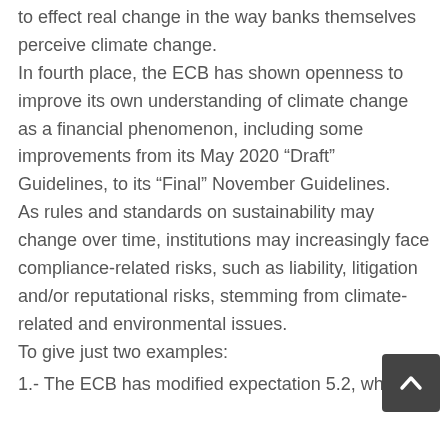to effect real change in the way banks themselves perceive climate change. In fourth place, the ECB has shown openness to improve its own understanding of climate change as a financial phenomenon, including some improvements from its May 2020 “Draft” Guidelines, to its “Final” November Guidelines. As rules and standards on sustainability may change over time, institutions may increasingly face compliance-related risks, such as liability, litigation and/or reputational risks, stemming from climate-related and environmental issues. To give just two examples:
1.- The ECB has modified expectation 5.2, which